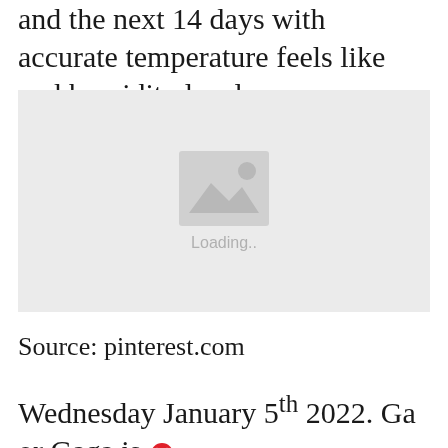and the next 14 days with accurate temperature feels like and humidity levels.
[Figure (photo): Image placeholder showing a loading state with a mountain/image icon and 'Loading..' text on a light grey background.]
Source: pinterest.com
Wednesday January 5th 2022. Ga or Gaga is